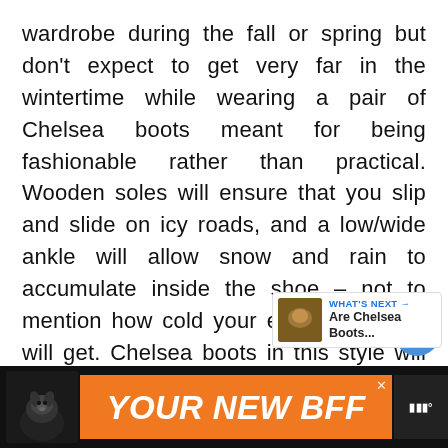wardrobe during the fall or spring but don't expect to get very far in the wintertime while wearing a pair of Chelsea boots meant for being fashionable rather than practical. Wooden soles will ensure that you slip and slide on icy roads, and a low/wide ankle will allow snow and rain to accumulate inside the shoe – not to mention how cold your exposed ankles will get. Chelsea boots in this style will sometimes come in suede, which is a big no-no for anyone expecting to cross a few puddles.
[Figure (screenshot): Social media UI overlay showing a blue heart/like button with count '1' and a share button on the right side of the text content]
[Figure (screenshot): WHAT'S NEXT panel with thumbnail image and text 'Are Chelsea Boots...' linking to related article]
[Figure (screenshot): Advertisement banner with orange background showing a dog image on left and text 'YOUR NEW BFF' in bold italic white font]